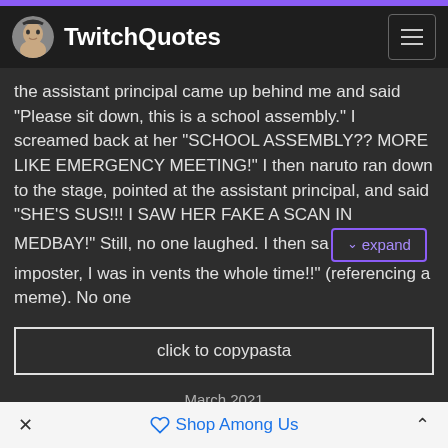TwitchQuotes
the assistant principal came up behind me and said "Please sit down, this is a school assembly." I screamed back at her "SCHOOL ASSEMBLY?? MORE LIKE EMERGENCY MEETING!" I then naruto ran down to the stage, pointed at the assistant principal, and said "SHE'S SUS!!! I SAW HER FAKE A SCAN IN MEDBAY!" Still, no one laughed. I then sa... [expand] imposter, I was in vents the whole time!!" (referencing a meme). No one
click to copypasta
March 2021
Trolling with Among Us
Among Us / Amogus
Tweet
Share
Shop Among Us